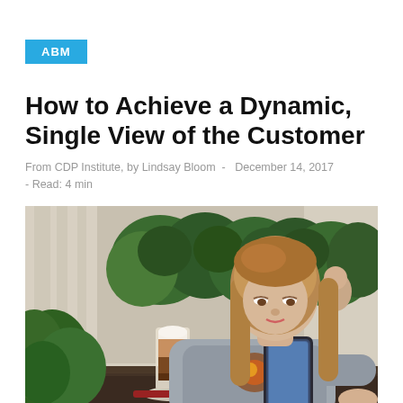ABM
How to Achieve a Dynamic, Single View of the Customer
From CDP Institute, by Lindsay Bloom  -  December 14, 2017 - Read: 4 min
[Figure (photo): Young woman with long blonde-brown hair sitting at a café table, looking at her smartphone. A tall latte drink is on the table. Green plants and curtains are visible in the background.]